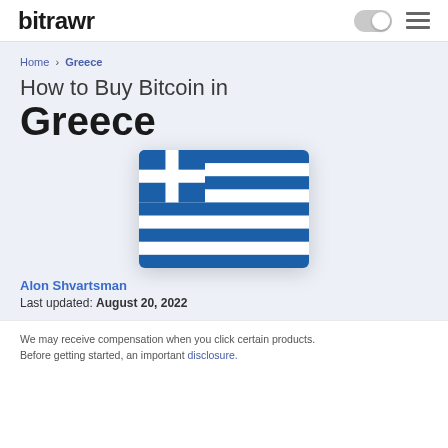bitrawr
Home › Greece
How to Buy Bitcoin in Greece
[Figure (illustration): Greek flag — blue and white horizontal stripes with blue canton containing a white cross]
Alon Shvartsman
Last updated: August 20, 2022
We may receive compensation when you click certain products. Before getting started, an important disclosure.